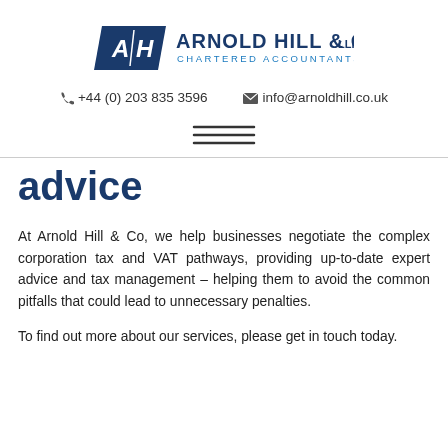[Figure (logo): Arnold Hill & Co LLP Chartered Accountants logo with blue parallelogram shield containing stylized A/H letters]
☎ +44 (0) 203 835 3596    ✉ info@arnoldhill.co.uk
[Figure (other): Hamburger menu icon with three horizontal lines]
advice
At Arnold Hill & Co, we help businesses negotiate the complex corporation tax and VAT pathways, providing up-to-date expert advice and tax management – helping them to avoid the common pitfalls that could lead to unnecessary penalties.
To find out more about our services, please get in touch today.